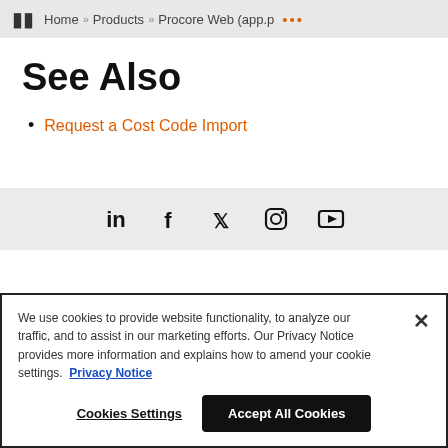Home » Products » Procore Web (app.p ...
See Also
Request a Cost Code Import
[Figure (infographic): Social media icons bar: LinkedIn, Facebook, Twitter, Instagram, YouTube]
We use cookies to provide website functionality, to analyze our traffic, and to assist in our marketing efforts. Our Privacy Notice provides more information and explains how to amend your cookie settings. Privacy Notice
Cookies Settings | Accept All Cookies